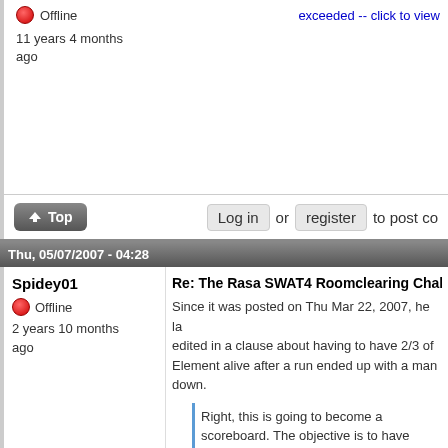Offline
exceeded -- click to view
11 years 4 months ago
Log in or register to post co
Thu, 05/07/2007 - 04:28
Spidey01
Re: The Rasa SWAT4 Roomclearing Challeng
Offline
2 years 10 months ago
Since it was posted on Thu Mar 22, 2007, he la edited in a clause about having to have 2/3 of Element alive after a run ended up with a man down.
Right, this is going to become a scoreboard. The objective is to have fast dynamic roomclearing in SWAT 4. The challenge is to do this as fast as possible, and post your score here.
The rules of the challenge: